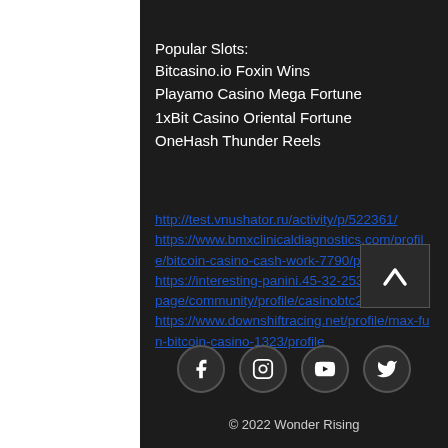Popular Slots:
Bitcasino.io Foxin Wins
Playamo Casino Mega Fortune
1xBit Casino Oriental Fortune
OneHash Thunder Reels
http://test.vnushator.ru/activity/p/522361/
https://www.bmxclinicaldiagnostics.com/profile/bitcoin-casino-cash-work-7790/profile
https://interesting-panini.45-32-253-204.plesk.page/community/profile/casinobtc2295287/
https://www.downshiftracing.net/profile/max-fun-bitcoin-casino-1323/profile
© 2022 Wonder Rising